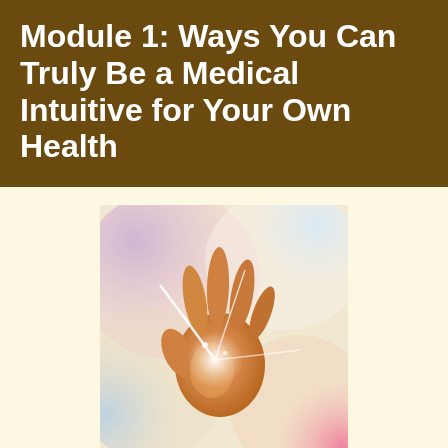Module 1: Ways You Can Truly Be a Medical Intuitive for Your Own Health
[Figure (illustration): Colorful artistic illustration of a human hand with glowing light and energy radiating from the palm, set against a pastel rainbow background with blues, purples, pinks, and oranges.]
In this opening module, Tina will share 15 key